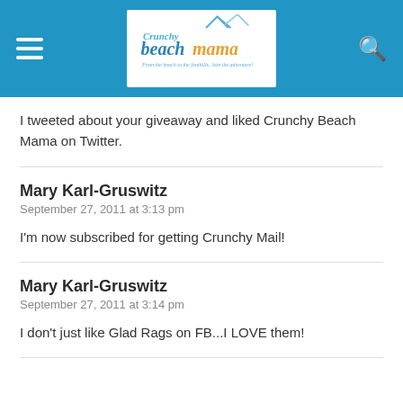Crunchy Beach Mama — From the beach to the foothills. Join the adventure!
I tweeted about your giveaway and liked Crunchy Beach Mama on Twitter.
Mary Karl-Gruswitz
September 27, 2011 at 3:13 pm

I'm now subscribed for getting Crunchy Mail!
Mary Karl-Gruswitz
September 27, 2011 at 3:14 pm

I don't just like Glad Rags on FB...I LOVE them!